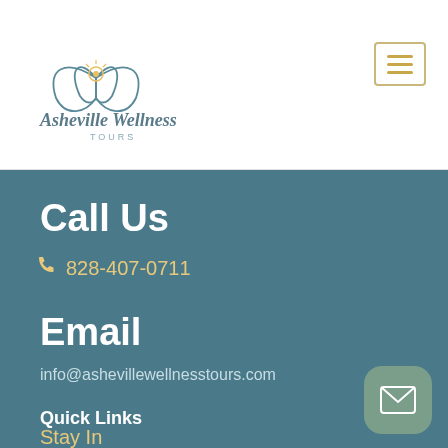[Figure (logo): Asheville Wellness Tours logo — lotus flower line art with a sun dot center, cursive script 'Asheville Wellness' above 'TOURS' in small caps]
[Figure (other): Hamburger menu button with three horizontal orange lines, outlined in gold/tan border]
Call Us
📞 828-407-0711
Email
info@ashevillewellnesstours.com
Quick Links
Stay In
[Figure (other): Green rounded square button with white envelope/mail icon]